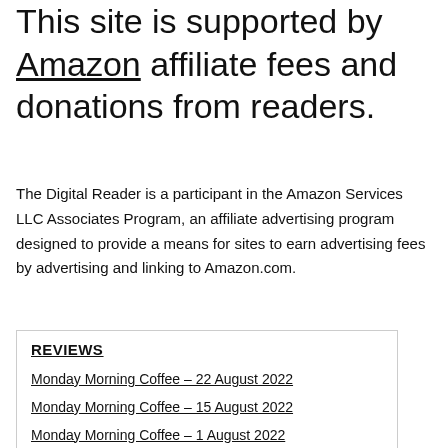This site is supported by Amazon affiliate fees and donations from readers.
The Digital Reader is a participant in the Amazon Services LLC Associates Program, an affiliate advertising program designed to provide a means for sites to earn advertising fees by advertising and linking to Amazon.com.
REVIEWS
Monday Morning Coffee – 22 August 2022
Monday Morning Coffee – 15 August 2022
Monday Morning Coffee – 1 August 2022